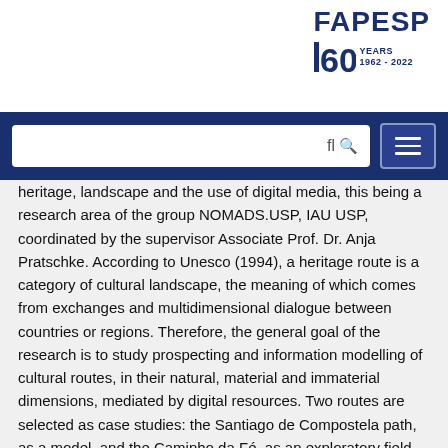[Figure (logo): FAPESP 60 Years 1962-2022 logo in navy blue]
heritage, landscape and the use of digital media, this being a research area of the group NOMADS.USP, IAU USP, coordinated by the supervisor Associate Prof. Dr. Anja Pratschke. According to Unesco (1994), a heritage route is a category of cultural landscape, the meaning of which comes from exchanges and multidimensional dialogue between countries or regions. Therefore, the general goal of the research is to study prospecting and information modelling of cultural routes, in their natural, material and immaterial dimensions, mediated by digital resources. Two routes are selected as case studies: the Santiago de Compostela path, as a model, and the Caminho da Fé, as an exploratory field. Initially, a research will resort to a theoretical deepening through bibliographic review and consultation of primary and secondary sources. Then, when it comes to data prospecting, a social cartography based on Vásquez, Crampton and Gorayeb will be used, understood as a procedure for building knowledge of the landscape in a participatory and collaborative way. With the information collected,